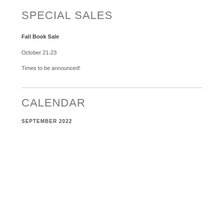SPECIAL SALES
Fall Book Sale
October 21-23
Times to be announced!
CALENDAR
SEPTEMBER 2022
| S | M | T | W | T | F | S |
| --- | --- | --- | --- | --- | --- | --- |
|  |  |  |  | 1 | 2 | 3 |
| 4 | 5 | 6 | 7 | 8 | 9 | 10 |
| 11 | 12 | 13 | 14 | 15 | 16 | 17 |
| 18 | 19 | 20 | 21 | 22 | 23 | 24 |